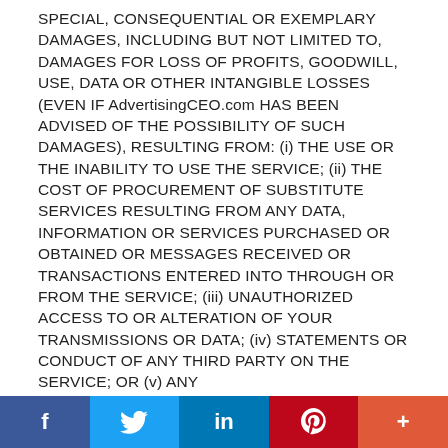SPECIAL, CONSEQUENTIAL OR EXEMPLARY DAMAGES, INCLUDING BUT NOT LIMITED TO, DAMAGES FOR LOSS OF PROFITS, GOODWILL, USE, DATA OR OTHER INTANGIBLE LOSSES (EVEN IF AdvertisingCEO.com HAS BEEN ADVISED OF THE POSSIBILITY OF SUCH DAMAGES), RESULTING FROM: (i) THE USE OR THE INABILITY TO USE THE SERVICE; (ii) THE COST OF PROCUREMENT OF SUBSTITUTE SERVICES RESULTING FROM ANY DATA, INFORMATION OR SERVICES PURCHASED OR OBTAINED OR MESSAGES RECEIVED OR TRANSACTIONS ENTERED INTO THROUGH OR FROM THE SERVICE; (iii) UNAUTHORIZED ACCESS TO OR ALTERATION OF YOUR TRANSMISSIONS OR DATA; (iv) STATEMENTS OR CONDUCT OF ANY THIRD PARTY ON THE SERVICE; OR (v) ANY
f  [Twitter]  in  [Pinterest]  +